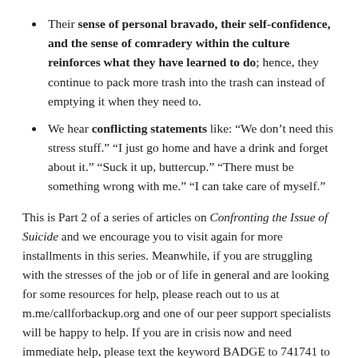Their sense of personal bravado, their self-confidence, and the sense of comradery within the culture reinforces what they have learned to do; hence, they continue to pack more trash into the trash can instead of emptying it when they need to.
We hear conflicting statements like: “We don’t need this stress stuff.” “I just go home and have a drink and forget about it.” “Suck it up, buttercup.” “There must be something wrong with me.” “I can take care of myself.”
This is Part 2 of a series of articles on Confronting the Issue of Suicide and we encourage you to visit again for more installments in this series. Meanwhile, if you are struggling with the stresses of the job or of life in general and are looking for some resources for help, please reach out to us at m.me/callforbackup.org and one of our peer support specialists will be happy to help. If you are in crisis now and need immediate help, please text the keyword BADGE to 741741 to be